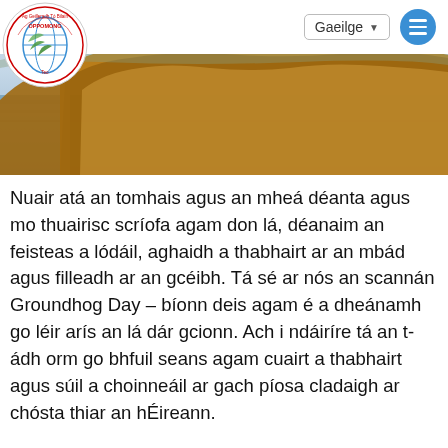Gaeilge
[Figure (photo): Hero banner photograph of a wetland/coastal landscape with golden reeds/grass on water with reflections, sky visible]
Nuair atá an tomhais agus an mheá déanta agus mo thuairisc scríofa agam don lá, déanaim an feisteas a lódáil, aghaidh a thabhairt ar an mbád agus filleadh ar an gcéibh. Tá sé ar nós an scannán Groundhog Day – bíonn deis agam é a dheánamh go léir arís an lá dár gcionn. Ach i ndáiríre tá an t-ádh orm go bhfuil seans agam cuairt a thabhairt agus súil a choinneáil ar gach píosa cladaigh ar chósta thiar an hÉireann.
Bainim an-sásamh as a bheith ag féachaint siar ar an obair chrua a rinne an fhoireann acmhainne ag deireadh séasúr